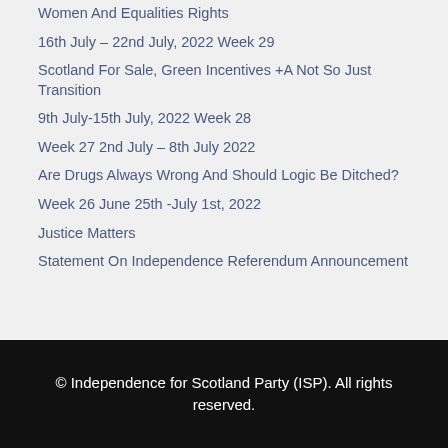Women And Equalities Rights
16th July – 22nd July, 2022 Week 29
Scotland For Sale, Green Incentives +A Not So Just Transition
9th July-15th July, 2022 Week 28
Week 27 2nd July – 8th July 2022
Are Drugs Always Wrong And Should Logic Be Ditched?
Week 26 June 25th -July 1st, 2022
Justice Matters
Statement On Independence Referendum Announcement
© Independence for Scotland Party (ISP). All rights reserved.